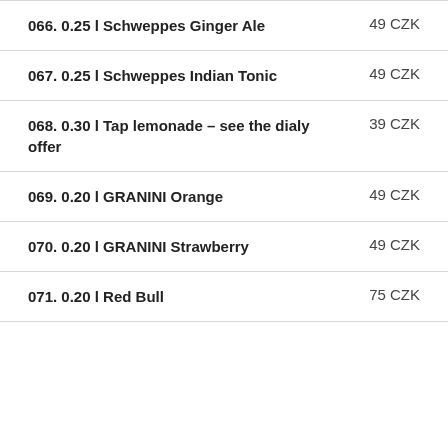066. 0.25 l Schweppes Ginger Ale    49 CZK
067. 0.25 l Schweppes Indian Tonic    49 CZK
068. 0.30 l Tap lemonade – see the dialy offer    39 CZK
069. 0.20 l GRANINI Orange    49 CZK
070. 0.20 l GRANINI Strawberry    49 CZK
071. 0.20 l Red Bull    75 CZK